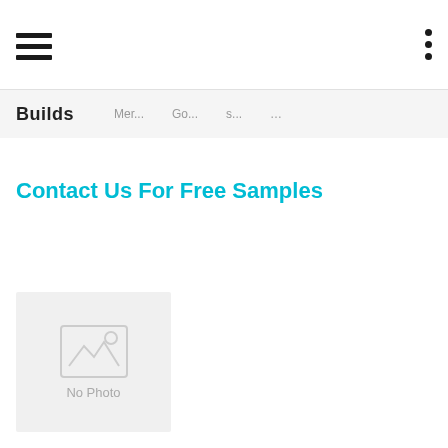Builds
Contact Us For Free Samples
[Figure (photo): No Photo placeholder image with mountain/landscape icon and 'No Photo' label]